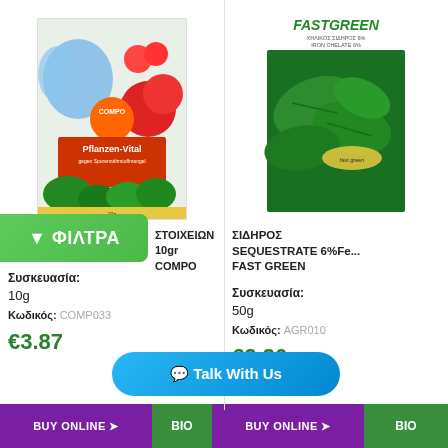[Figure (photo): Product image: COMPO Pflanzen-Vital fertilizer package with colorful flowers and plants on front]
[Figure (photo): Product image: FastGreen iron chelate 6% Fe package showing green plant leaves, labeled ΧΗΛΙΚΟΣ ΣΙΔΗΡΟΣ 6% IRON CHELATE 6%]
[Figure (other): Green filter button labeled with filter icon and ΦΙΛΤΡΑ in white text]
ΣΤΟΙΧΕΙΩΝ
10gr COMPO
ΣΙΔΗΡΟΣ SEQUESTRATE 6%Fe... FAST GREEN
Συσκευασία: 10g
Συσκευασία: 50g
Κωδικός: COMPO033
Κωδικός: AGR010
€3.87
€2.26
[Figure (other): Teal Talk With Us chat button]
BUY ONLINE
BIO
BUY ONLINE
BIO